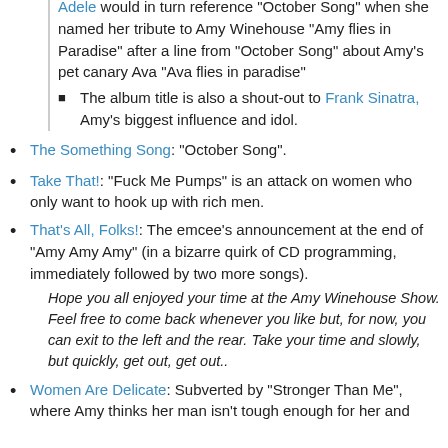Adele would in turn reference "October Song" when she named her tribute to Amy Winehouse "Amy flies in Paradise" after a line from "October Song" about Amy's pet canary Ava "Ava flies in paradise"
The album title is also a shout-out to Frank Sinatra, Amy's biggest influence and idol.
The Something Song: "October Song".
Take That!: "Fuck Me Pumps" is an attack on women who only want to hook up with rich men.
That's All, Folks!: The emcee's announcement at the end of "Amy Amy Amy" (in a bizarre quirk of CD programming, immediately followed by two more songs).
Hope you all enjoyed your time at the Amy Winehouse Show. Feel free to come back whenever you like but, for now, you can exit to the left and the rear. Take your time and slowly, but quickly, get out, get out..
Women Are Delicate: Subverted by "Stronger Than Me", where Amy thinks her man isn't tough enough for her and